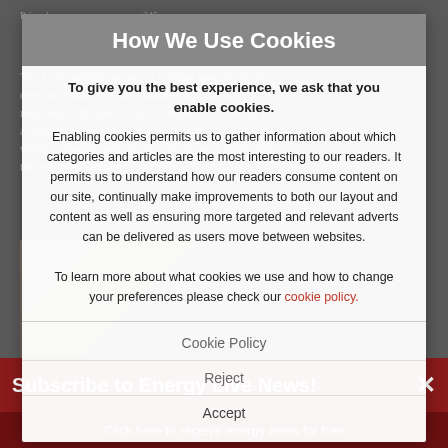[Figure (screenshot): Background webpage content partially visible behind cookie consent modal overlay, showing article text about Environment Agency and Veolia, plus a photo of people]
How We Use Cookies
To give you the best experience, we ask that you enable cookies.
Enabling cookies permits us to gather information about which categories and articles are the most interesting to our readers. It permits us to understand how our readers consume content on our site, continually make improvements to both our layout and content as well as ensuring more targeted and relevant adverts can be delivered as users move between websites.
To learn more about what cookies we use and how to change your preferences please check our cookie policy.
Cookie Policy
Reject
Accept
Subscribe to Energy Live News!
Click here to receive energy news for free